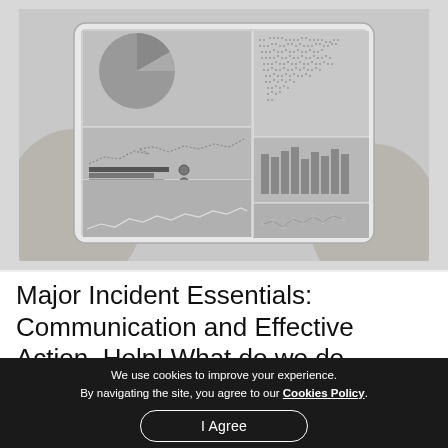[Figure (photo): Grayscale photo of hands holding a tablet device displaying a business dashboard with pie chart, world map, bar charts, line charts, and data visualizations.]
Major Incident Essentials: Communication and Effective Action. Help! What do we do
We use cookies to improve your experience. By navigating the site, you agree to our Cookies Policy.
I Agree